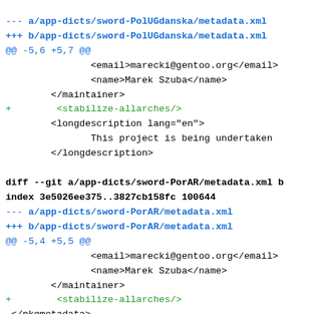--- a/app-dicts/sword-PolUGdanska/metadata.xml
+++ b/app-dicts/sword-PolUGdanska/metadata.xml
@@ -5,6 +5,7 @@
                <email>marecki@gentoo.org</email>
                <name>Marek Szuba</name>
        </maintainer>
+        <stabilize-allarches/>
        <longdescription lang="en">
                This project is being undertaken
        </longdescription>

diff --git a/app-dicts/sword-PorAR/metadata.xml b
index 3e5026ee375..3827cb158fc 100644
--- a/app-dicts/sword-PorAR/metadata.xml
+++ b/app-dicts/sword-PorAR/metadata.xml
@@ -5,4 +5,5 @@
                <email>marecki@gentoo.org</email>
                <name>Marek Szuba</name>
        </maintainer>
+        <stabilize-allarches/>
 </pkgmetadata>

diff --git a/app-dicts/sword-PorAlmeida1911/metad